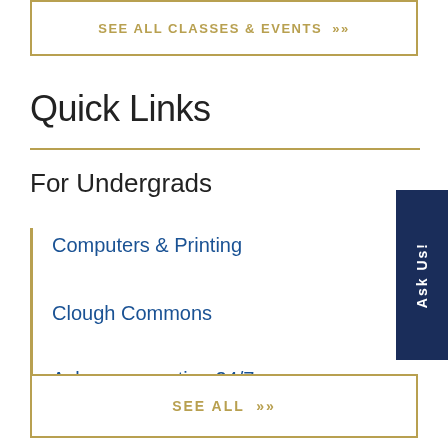SEE ALL CLASSES & EVENTS »
Quick Links
For Undergrads
Computers & Printing
Clough Commons
Ask us a question 24/7
SEE ALL »